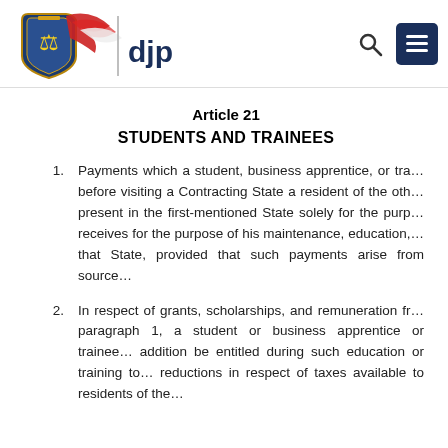[Figure (logo): DJP (Direktorat Jenderal Pajak) logo with Indonesian shield emblem and red/white ribbon, plus search and menu icons in the header]
Article 21
STUDENTS AND TRAINEES
Payments which a student, business apprentice, or trainee who is or was immediately before visiting a Contracting State a resident of the other Contracting State and who is present in the first-mentioned State solely for the purpose of his education or training receives for the purpose of his maintenance, education, or training shall not be taxed in that State, provided that such payments arise from sources outside that State.
In respect of grants, scholarships, and remuneration from employment not covered by paragraph 1, a student or business apprentice or trainee described in paragraph 1 shall, in addition be entitled during such education or training to the same exemptions, reliefs, or reductions in respect of taxes available to residents of the Contracting State which he is visiting.